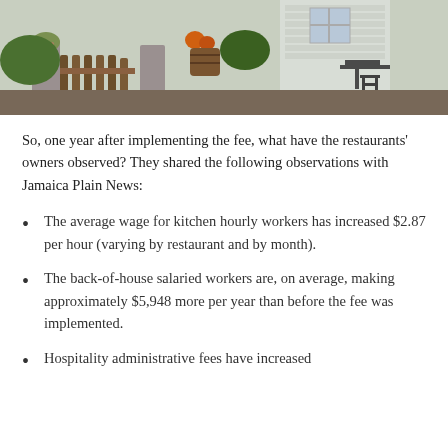[Figure (photo): Outdoor restaurant patio scene with tables, chairs, fence, potted plants with pumpkins, and a house in the background. Fall season setting.]
So, one year after implementing the fee, what have the restaurants' owners observed? They shared the following observations with Jamaica Plain News:
The average wage for kitchen hourly workers has increased $2.87 per hour (varying by restaurant and by month).
The back-of-house salaried workers are, on average, making approximately $5,948 more per year than before the fee was implemented.
Hospitality administrative fees have increased